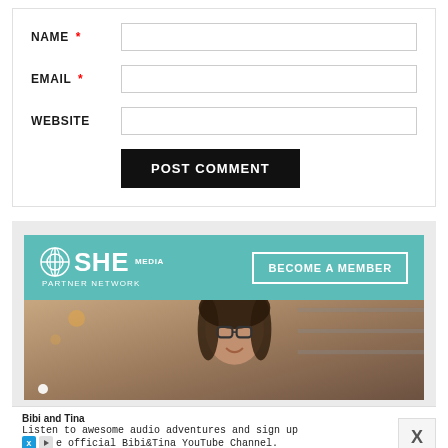NAME *
EMAIL *
WEBSITE
POST COMMENT
[Figure (infographic): SHE Media Partner Network banner with 'BECOME A MEMBER' button and photo of smiling woman with glasses]
Bibi and Tina
Listen to awesome audio adventures and sign up
e official Bibi&Tina YouTube Channel.